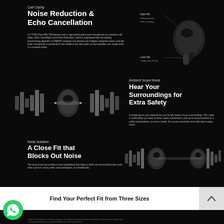Call Clarity
Noise Reduction & Echo Cancellation
LG TONE Free HBS T90 features built in high-performance dual microphones for noiseless call clarity. Echo Cancellation and Noise Reduction, which is engineered with the leading beamforming algorithm of FiltEM® combines and devices and mitigate unwanted noises. And the lower microphone is positioned in the middle of the stem picks up and amplifies your vocals even in a crowded space.
[Figure (photo): LG TONE earphone with annotations: Upper Mic - Noise Reduction / Echo Cancelling; Lower Mic - Clearer Voice Pick Up]
[Figure (illustration): Sound wave visualization with earphone components exploded view]
Ambient Sound Mode
Hear Your Surroundings for Extra Safety
A simple tap on your earbuds lets you be fully aware of your surroundings. This mode is useful when you need to have a quick conversation, pick up an announcement in a public transportation, or cross a street. It's a more convenient and safer way to enjoy music.
Noise Isolation
A Close Fit that Blocks Out Noise
The close fit ear tip provides a more established that helps to block out surrounding noise, even when you're in a busy café, noisy workspace, or crowded bars.
[Figure (illustration): Sound wave and earphone close fit illustration]
Find Your Perfect Fit from Three Sizes
* Some or any of the parts are not able to be placed in the Charging Case depending on the selected eartips, and this can cause a battery issue. * This eartip model indicates our eartips IEC 60068 and UL Class H requirements.